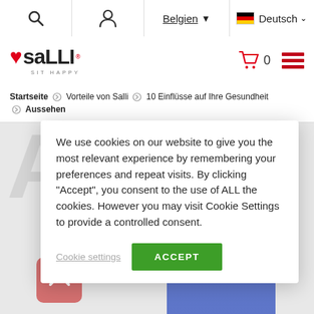Belgien | Deutsch
[Figure (logo): Salli logo with red heart and text 'SALLI SIT HAPPY', cart icon with 0, hamburger menu icon]
Startseite > Vorteile von Salli > 10 Einflüsse auf Ihre Gesundheit > Aussehen
We use cookies on our website to give you the most relevant experience by remembering your preferences and repeat visits. By clicking "Accept", you consent to the use of ALL the cookies. However you may visit Cookie Settings to provide a controlled consent.
Cookie settings     ACCEPT